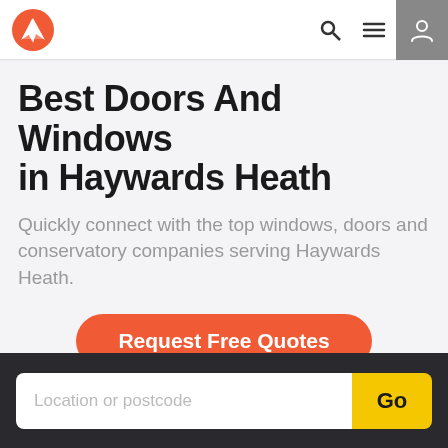[Figure (logo): Red circular logo with white angular geometric shape (stylized arrow/chevron)]
Best Doors And Windows in Haywards Heath
Quickly connect with the top windows, doors and conservatory companies serving Haywards Heath.
Request Free Quotes
Location or postcode